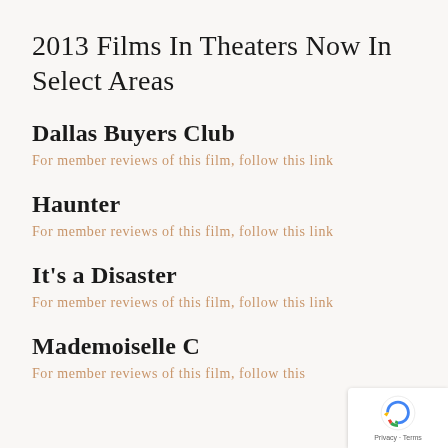2013 Films In Theaters Now In Select Areas
Dallas Buyers Club
For member reviews of this film, follow this link
Haunter
For member reviews of this film, follow this link
It's a Disaster
For member reviews of this film, follow this link
Mademoiselle C
For member reviews of this film, follow this